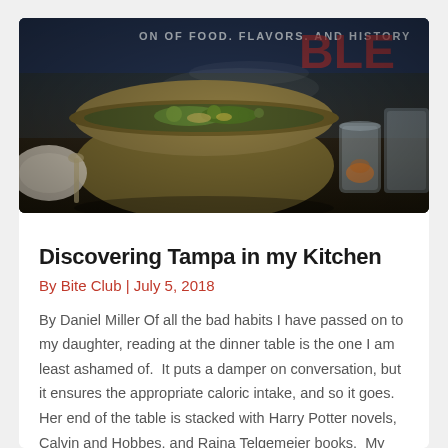[Figure (photo): A brass/copper cooking pot with green vegetables inside, set on a dark surface, with glass cups visible on the right. Text visible on a sign in the background reads 'OF FOOD. FLAVORS. AND HISTORY'.]
Discovering Tampa in my Kitchen
By Bite Club | July 5, 2018
By Daniel Miller Of all the bad habits I have passed on to my daughter, reading at the dinner table is the one I am least ashamed of.  It puts a damper on conversation, but it ensures the appropriate caloric intake, and so it goes.  Her end of the table is stacked with Harry Potter novels, Calvin and Hobbes, and Raina Telgemeier books.  My end of the table is